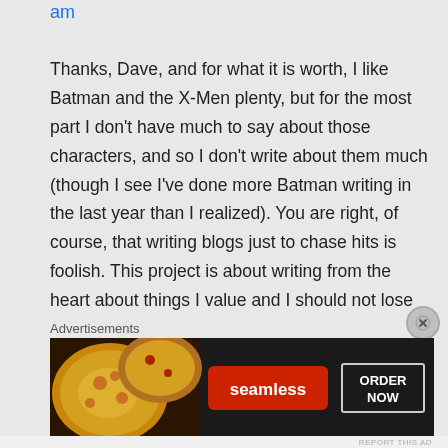am
Thanks, Dave, and for what it is worth, I like Batman and the X-Men plenty, but for the most part I don't have much to say about those characters, and so I don't write about them much (though I see I've done more Batman writing in the last year than I realized). You are right, of course, that writing blogs just to chase hits is foolish. This project is about writing from the heart about things I value and I should not lose track of that.
Advertisements
[Figure (infographic): Seamless food delivery advertisement banner showing pizza image on left, red Seamless logo button in center, and ORDER NOW button on right, on dark background]